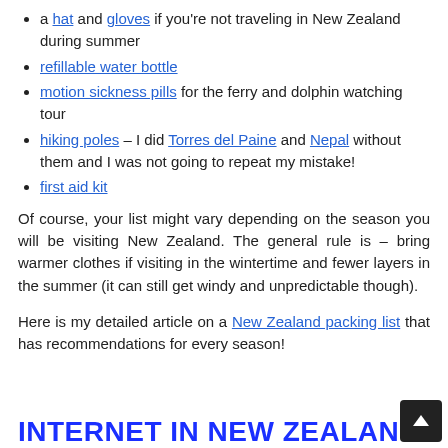a hat and gloves if you're not traveling in New Zealand during summer
refillable water bottle
motion sickness pills for the ferry and dolphin watching tour
hiking poles – I did Torres del Paine and Nepal without them and I was not going to repeat my mistake!
first aid kit
Of course, your list might vary depending on the season you will be visiting New Zealand. The general rule is – bring warmer clothes if visiting in the wintertime and fewer layers in the summer (it can still get windy and unpredictable though).
Here is my detailed article on a New Zealand packing list that has recommendations for every season!
INTERNET IN NEW ZEALAND